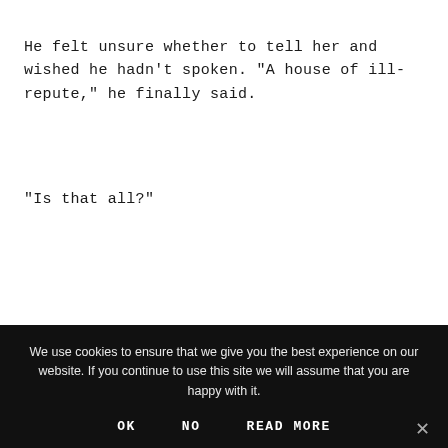He felt unsure whether to tell her and wished he hadn't spoken. “A house of ill-repute,” he finally said.
“Is that all?”
He held the door open for her to enter the vestibule.
We use cookies to ensure that we give you the best experience on our website. If you continue to use this site we will assume that you are happy with it.
OK   NO   READ MORE